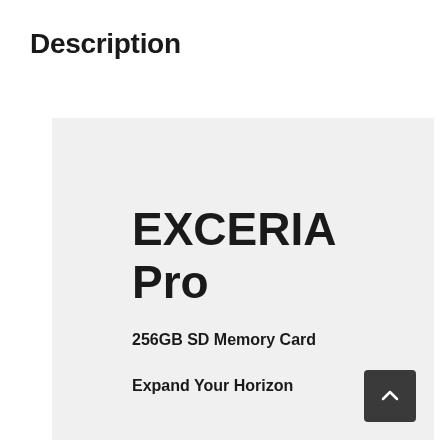Description
[Figure (illustration): Product advertisement box with light gray background showing EXCERIA Pro 256GB SD Memory Card with tagline 'Expand Your Horizon' and a scroll-up button]
EXCERIA Pro
256GB SD Memory Card
Expand Your Horizon